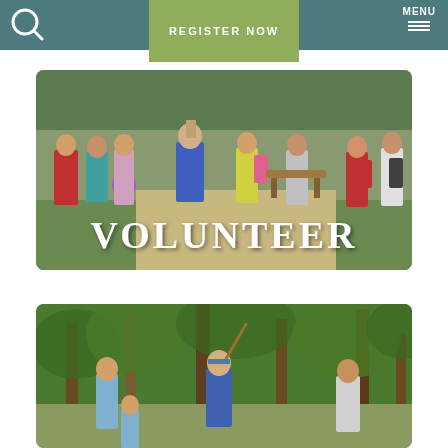REGISTER NOW | MENU
[Figure (photo): Group of youth campers outdoors on a path with trees, one counselor in a blue shirt clapping, others carrying backpacks and a purple ball. Large white text overlay reads VOLUNTEER.]
[Figure (photo): Youth campers and a counselor in a blue shirt in a wooded area, one person holding a stick or rope, surrounded by tall green trees.]